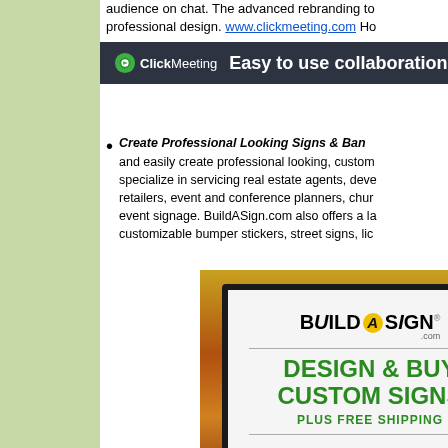audience on chat. The advanced rebranding to professional design. www.clickmeeting.com Ho
[Figure (screenshot): ClickMeeting banner with logo and tagline: Easy to use collaboration tools]
Create Professional Looking Signs & Ban... and easily create professional looking, custom... specialize in servicing real estate agents, deve... retailers, event and conference planners, chur... event signage. BuildASign.com also offers a la... customizable bumper stickers, street signs, lic...
[Figure (photo): BuildASign.com advertisement showing a sign with text: DESIGN & BUY CUSTOM SIGNS PLUS FREE SHIPPING, set against an autumn background]